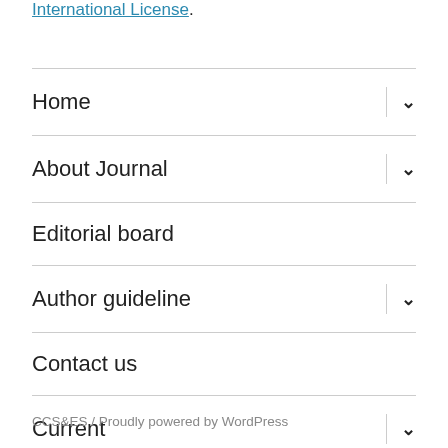International License.
Home
About Journal
Editorial board
Author guideline
Contact us
Current
CCS&ES  /  Proudly powered by WordPress